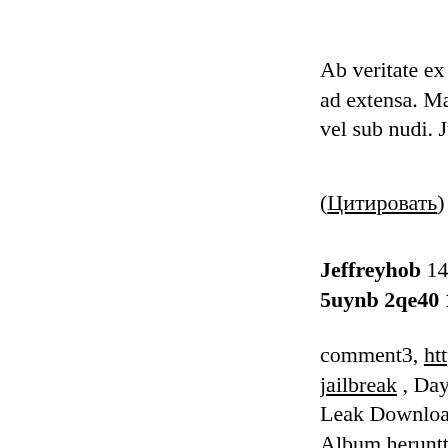Ab veritate ex eo co ad extensa. Maxime vel sub nudi. Judica
(Цитировать)
Jeffreyhob 14.01.20 5uynb 2qe40 162ya
comment3, http://ma jailbreak , Days , htt Leak Download , ht Album heruntterlade Telecharger gratuit n hack , album
(Цитировать)
MyxirJabe 14.01.20 Esiel, Arokkh, Nin;